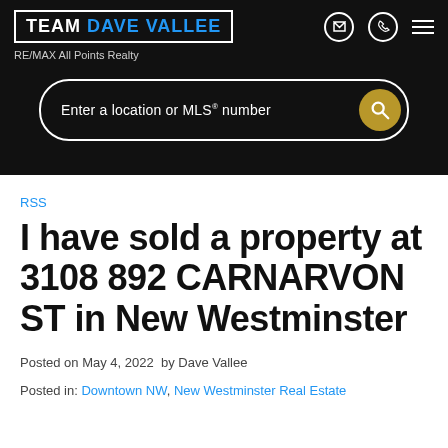[Figure (screenshot): Team Dave Vallee RE/MAX All Points Realty website header with dark background, logo in white border box, icons for email, phone, and menu on the right, and a search bar with gold search button reading 'Enter a location or MLS® number']
RSS
I have sold a property at 3108 892 CARNARVON ST in New Westminster
Posted on May 4, 2022  by Dave Vallee
Posted in: Downtown NW, New Westminster Real Estate